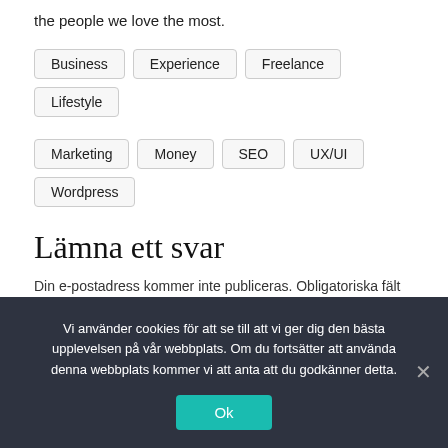the people we love the most.
Business
Experience
Freelance
Lifestyle
Marketing
Money
SEO
UX/UI
Wordpress
Lämna ett svar
Din e-postadress kommer inte publiceras. Obligatoriska fält är märkta *
Kommentar *
Vi använder cookies för att se till att vi ger dig den bästa upplevelsen på vår webbplats. Om du fortsätter att använda denna webbplats kommer vi att anta att du godkänner detta.